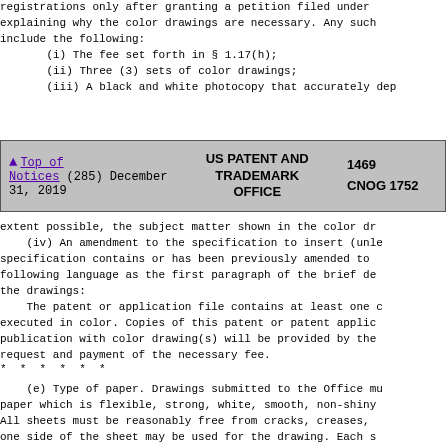registrations only after granting a petition filed under explaining why the color drawings are necessary. Any such include the following:
(i) The fee set forth in § 1.17(h);
(ii) Three (3) sets of color drawings;
(iii) A black and white photocopy that accurately dep
| Navigation | Office Name | Number |
| --- | --- | --- |
| ▲ Top of Notices (285) December 31, 2019 | US PATENT AND TRADEMARK OFFICE | 1469 CNOG 1752 |
extent possible, the subject matter shown in the color dr
(iv) An amendment to the specification to insert (unle specification contains or has been previously amended to following language as the first paragraph of the brief de the drawings:
The patent or application file contains at least one c executed in color. Copies of this patent or patent applic publication with color drawing(s) will be provided by the request and payment of the necessary fee.
* * * * * *
(e) Type of paper. Drawings submitted to the Office mu paper which is flexible, strong, white, smooth, non-shiny All sheets must be reasonably free from cracks, creases, one side of the sheet may be used for the drawing. Each s reasonably free from erasures and must be free from alter